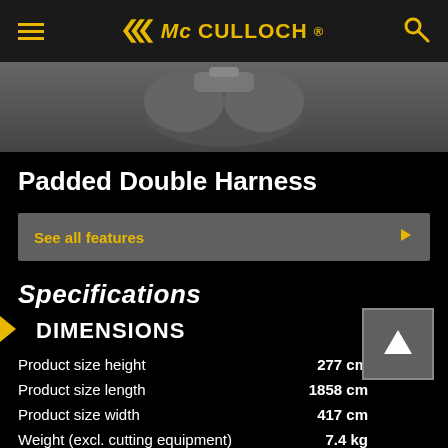McCulloch
[Figure (photo): Product photo of Padded Double Harness on dark background]
Padded Double Harness
See all features
Specifications
DIMENSIONS
| Specification | Value |
| --- | --- |
| Product size height | 277 cm |
| Product size length | 1858 cm |
| Product size width | 417 cm |
| Weight (excl. cutting equipment) | 7.4 kg |